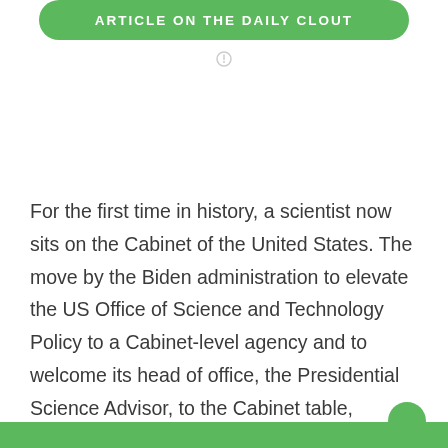[Figure (other): Green rounded button with white uppercase text reading ARTICLE ON THE DAILY CLOUT]
For the first time in history, a scientist now sits on the Cabinet of the United States. The move by the Biden administration to elevate the US Office of Science and Technology Policy to a Cabinet-level agency and to welcome its head of office, the Presidential Science Advisor, to the Cabinet table, signals an important shift — science will once more play a prominent role within the highest circles of government.